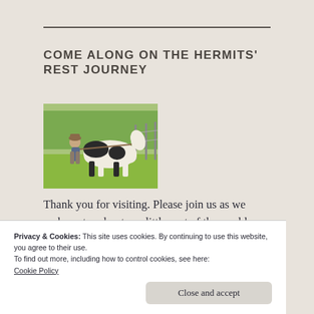COME ALONG ON THE HERMITS' REST JOURNEY
[Figure (photo): A person leading or running alongside a pinto horse in an outdoor field with trees and a fence in the background.]
Thank you for visiting. Please join us as we make notes about our little part of the world.
Privacy & Cookies: This site uses cookies. By continuing to use this website, you agree to their use.
To find out more, including how to control cookies, see here: Cookie Policy
Close and accept